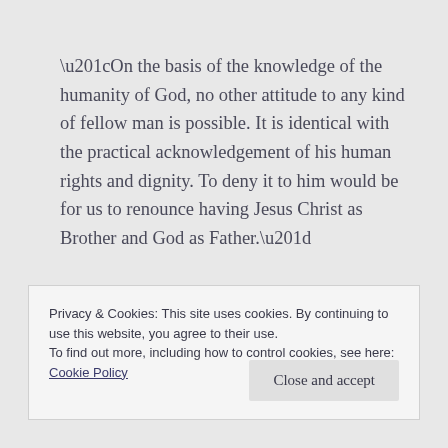“On the basis of the knowledge of the humanity of God, no other attitude to any kind of fellow man is possible. It is identical with the practical acknowledgement of his human rights and dignity. To deny it to him would be for us to renounce having Jesus Christ as Brother and God as Father.”
The danger in understanding Christ without learning about his humanity is that Christ becomes
Privacy & Cookies: This site uses cookies. By continuing to use this website, you agree to their use.
To find out more, including how to control cookies, see here: Cookie Policy